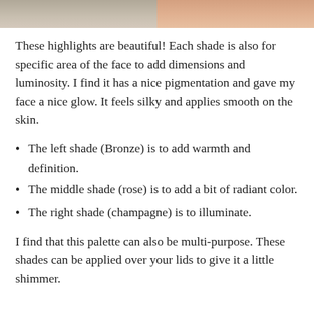[Figure (photo): Two cropped photos side by side showing skin/face close-ups at the top of the page]
These highlights are beautiful! Each shade is also for specific area of the face to add dimensions and luminosity. I find it has a nice pigmentation and gave my face a nice glow. It feels silky and applies smooth on the skin.
The left shade (Bronze) is to add warmth and definition.
The middle shade (rose) is to add a bit of radiant color.
The right shade (champagne) is to illuminate.
I find that this palette can also be multi-purpose. These shades can be applied over your lids to give it a little shimmer.